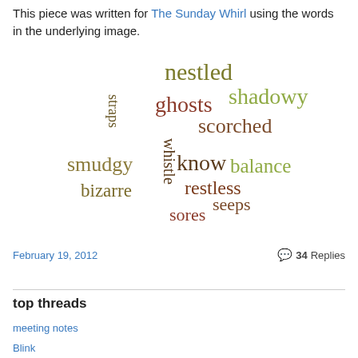This piece was written for The Sunday Whirl using the words in the underlying image.
[Figure (infographic): A word cloud containing the following words in various sizes and colors (olive, brown, dark red): nestled, shadowy, ghosts, scorched, straps (vertical), whistle (vertical), smudgy, know, balance, bizarre, restless, seeps, sores]
February 19, 2012   💬 34 Replies
top threads
meeting notes
Blink